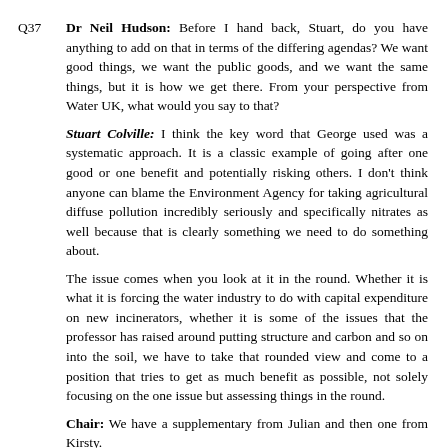Q37  Dr Neil Hudson: Before I hand back, Stuart, do you have anything to add on that in terms of the differing agendas? We want good things, we want the public goods, and we want the same things, but it is how we get there. From your perspective from Water UK, what would you say to that?
Stuart Colville: I think the key word that George used was a systematic approach. It is a classic example of going after one good or one benefit and potentially risking others. I don't think anyone can blame the Environment Agency for taking agricultural diffuse pollution incredibly seriously and specifically nitrates as well because that is clearly something we need to do something about.
The issue comes when you look at it in the round. Whether it is what it is forcing the water industry to do with capital expenditure on new incinerators, whether it is some of the issues that the professor has raised around putting structure and carbon and so on into the soil, we have to take that rounded view and come to a position that tries to get as much benefit as possible, not solely focusing on the one issue but assessing things in the round.
Chair: We have a supplementary from Julian and then one from Kirsty.
Q38  Julian Sturdy: I wanted to come back to Professor Neal. In